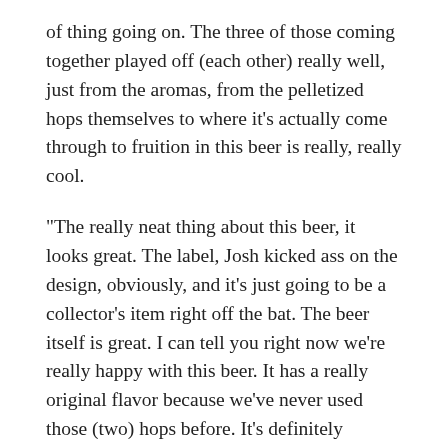of thing going on. The three of those coming together played off (each other) really well, just from the aromas, from the pelletized hops themselves to where it’s actually come through to fruition in this beer is really, really cool.
“The really neat thing about this beer, it looks great. The label, Josh kicked ass on the design, obviously, and it’s just going to be a collector’s item right off the bat. The beer itself is great. I can tell you right now we’re really happy with this beer. It has a really original flavor because we’ve never used those (two) hops before. It’s definitely something you haven’t tasted out of Boxing Bear before, that being